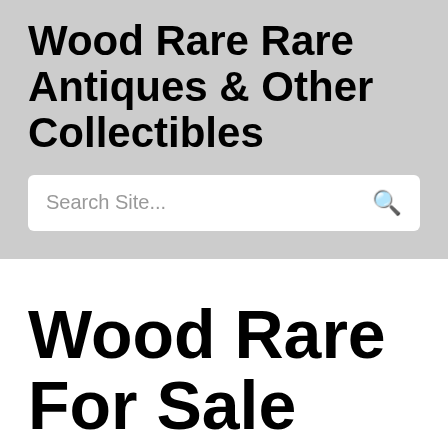Wood Rare Rare Antiques & Other Collectibles
Search Site...
Wood Rare For Sale